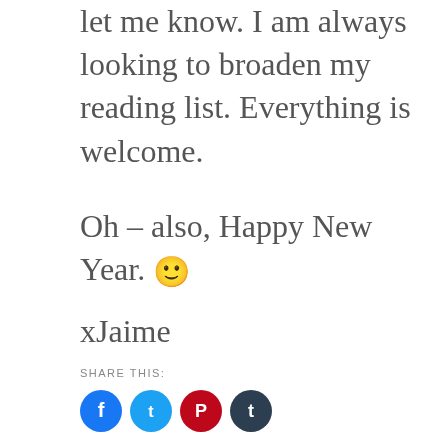let me know. I am always looking to broaden my reading list. Everything is welcome.
Oh – also, Happy New Year. 🙂
xJaime
SHARE THIS:
[Figure (infographic): Four social media share buttons: Facebook (blue), Twitter (light blue), Pinterest (red/dark), Tumblr (dark navy)]
Loading…